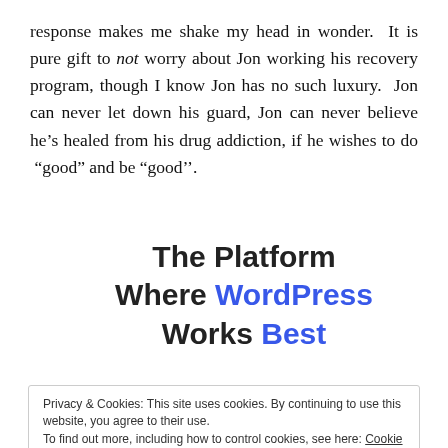response makes me shake my head in wonder.  It is pure gift to not worry about Jon working his recovery program, though I know Jon has no such luxury.  Jon can never let down his guard, Jon can never believe he's healed from his drug addiction, if he wishes to do “good” and be “good’’.
The Platform Where WordPress Works Best
Privacy & Cookies: This site uses cookies. By continuing to use this website, you agree to their use.
To find out more, including how to control cookies, see here: Cookie Policy